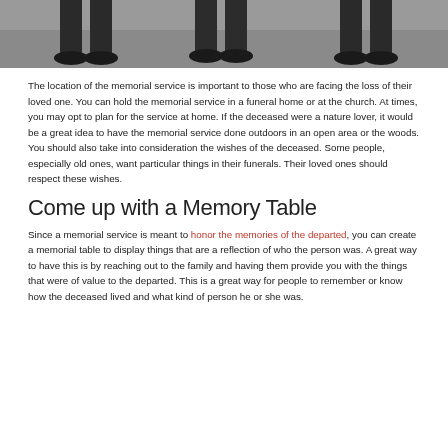[Figure (photo): Photo showing legs and feet of people standing on pavement, cropped at the top of the page]
The location of the memorial service is important to those who are facing the loss of their loved one. You can hold the memorial service in a funeral home or at the church. At times, you may opt to plan for the service at home. If the deceased were a nature lover, it would be a great idea to have the memorial service done outdoors in an open area or the woods. You should also take into consideration the wishes of the deceased. Some people, especially old ones, want particular things in their funerals. Their loved ones should respect these wishes.
Come up with a Memory Table
Since a memorial service is meant to honor the memories of the departed, you can create a memorial table to display things that are a reflection of who the person was. A great way to have this is by reaching out to the family and having them provide you with the things that were of value to the departed. This is a great way for people to remember or know how the deceased lived and what kind of person he or she was.